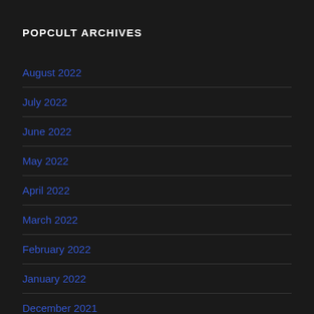POPCULT ARCHIVES
August 2022
July 2022
June 2022
May 2022
April 2022
March 2022
February 2022
January 2022
December 2021